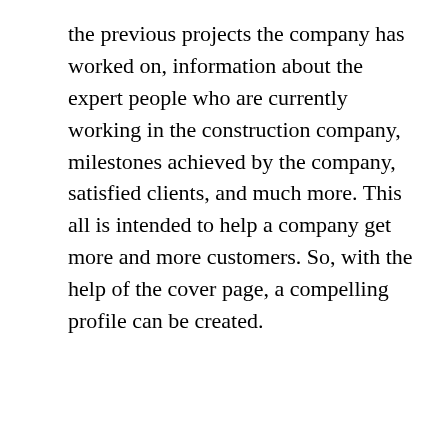the previous projects the company has worked on, information about the expert people who are currently working in the construction company, milestones achieved by the company, satisfied clients, and much more. This all is intended to help a company get more and more customers. So, with the help of the cover page, a compelling profile can be created.